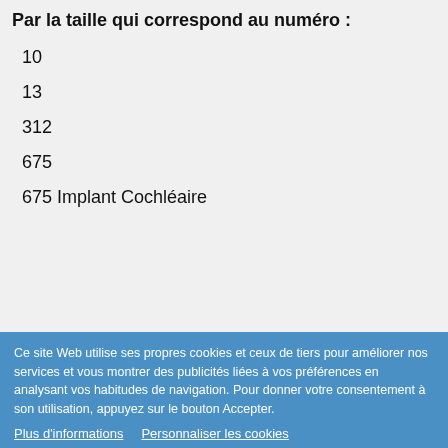Par la taille qui correspond au numéro :
10
13
312
675
675 Implant Cochléaire
Ce site Web utilise ses propres cookies et ceux de tiers pour améliorer nos services et vous montrer des publicités liées à vos préférences en analysant vos habitudes de navigation. Pour donner votre consentement à son utilisation, appuyez sur le bouton Accepter.
Plus d'informations
Personnaliser les cookies
REJETER TOUT
J'ACCEPTE